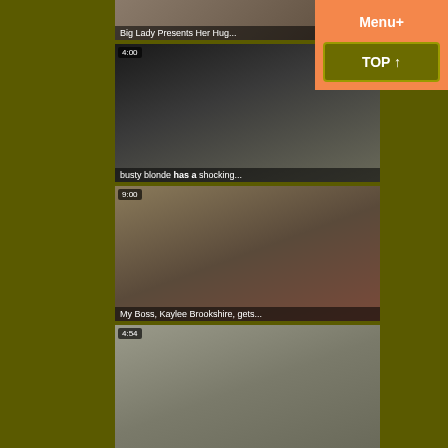[Figure (screenshot): Thumbnail 1: Big Lady Presents Her Hug... with partial title text overlay at bottom]
[Figure (screenshot): Thumbnail 2: busty blonde has a shocking... with 4:00 duration badge, two women scene]
[Figure (screenshot): Thumbnail 3: My Boss, Kaylee Brookshire, gets... with 9:00 duration badge, blonde woman scene]
[Figure (screenshot): Thumbnail 4: Partial thumbnail with 4:54 duration badge, elderly blonde with young man]
Menu+
TOP ↑